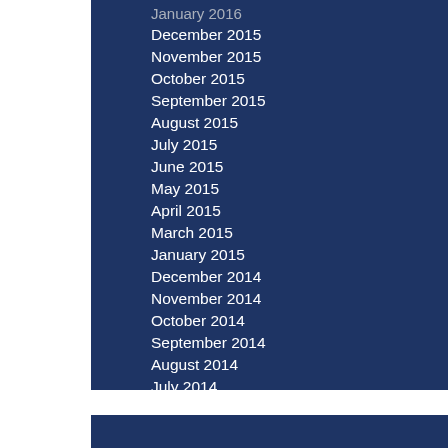January 2016
December 2015
November 2015
October 2015
September 2015
August 2015
July 2015
June 2015
May 2015
April 2015
March 2015
January 2015
December 2014
November 2014
October 2014
September 2014
August 2014
July 2014
October 2013